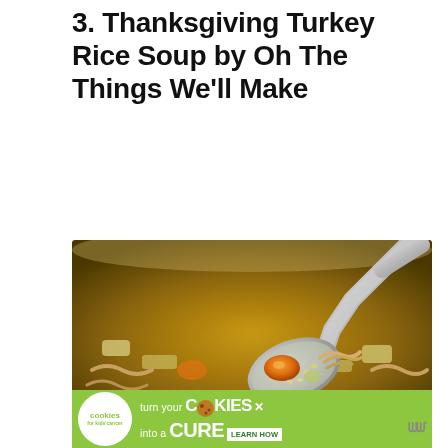3. Thanksgiving Turkey Rice Soup by Oh The Things We’ll Make
[Figure (photo): Close-up photo of a spoon holding turkey rice soup with a carrot slice, rice grains, celery, and shredded turkey meat, over a bowl of golden-brown turkey soup]
[Figure (other): Advertisement banner: cookies for kids cancer - turn your COOKIES into a CURE LEARN HOW, with WW logo on right]